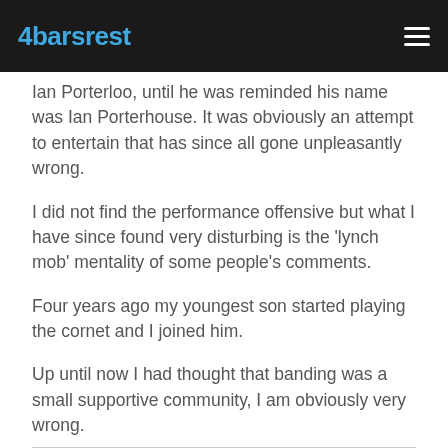4barsrest
Ian Porterloo, until he was reminded his name was Ian Porterhouse. It was obviously an attempt to entertain that has since all gone unpleasantly wrong.
I did not find the performance offensive but what I have since found very disturbing is the 'lynch mob' mentality of some people's comments.
Four years ago my youngest son started playing the cornet and I joined him.
Up until now I had thought that banding was a small supportive community, I am obviously very wrong.
Gill Walters